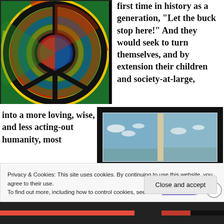[Figure (photo): Tie-dye peace sign image with colorful spiral pattern in red, blue, yellow and green]
first time in history as a generation, “Let the buck stop here!” And they would seek to turn themselves, and by extension their children and society-at-large,
into a more loving, wise, and less acting-out humanity, most
[Figure (photo): Open book with sky and clouds visible on pages, beige spine in center]
Privacy & Cookies: This site uses cookies. By continuing to use this website, you agree to their use.
To find out more, including how to control cookies, see here: Cookie Policy
Close and accept